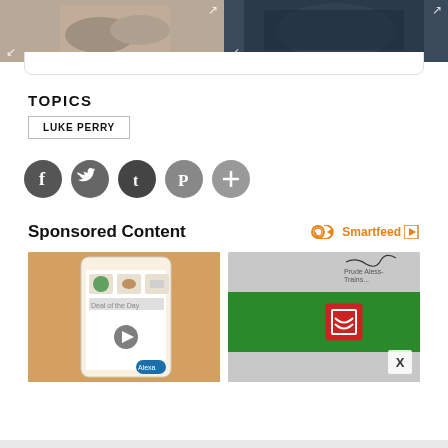[Figure (photo): Two photos at top: left shows hands/arms of a person, right shows a dark-clothed figure holding something]
TOPICS
LUKE PERRY
[Figure (infographic): Social media share buttons: Facebook, Twitter, Tumblr, Pinterest, More (plus icon) — all gray circles]
Sponsored Content
[Figure (logo): Smartfeed logo with orange infinity-like symbol and play button icon]
[Figure (photo): Left sponsored image: phone screen showing shopping app with 'Deal of the Day' and Alexa; Right sponsored image: INTESA SANPAOLO bank signage]